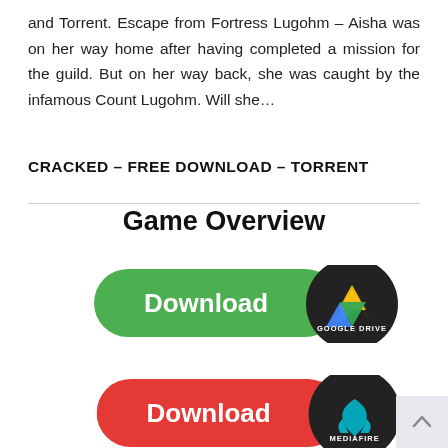and Torrent. Escape from Fortress Lugohm – Aisha was on her way home after having completed a mission for the guild. But on her way back, she was caught by the infamous Count Lugohm. Will she…
CRACKED – FREE DOWNLOAD – TORRENT
Game Overview
[Figure (illustration): Green download button with Google Drive dark circle logo on the right side]
[Figure (illustration): Red download button with MediaFire dark circle logo on the right side (partially visible)]